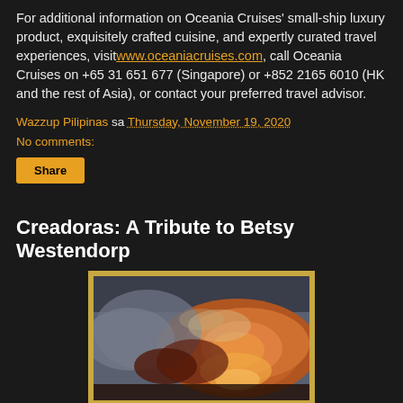For additional information on Oceania Cruises' small-ship luxury product, exquisitely crafted cuisine, and expertly curated travel experiences, visit www.oceaniacruises.com, call Oceania Cruises on +65 31 651 677 (Singapore) or +852 2165 6010 (HK and the rest of Asia), or contact your preferred travel advisor.
Wazzup Pilipinas sa Thursday, November 19, 2020
No comments:
Share
Creadoras: A Tribute to Betsy Westendorp
[Figure (illustration): A framed oil painting showing dramatic cloudy sky with warm orange and brown hues mixed with cooler blue-grey tones, suggesting a sunset or stormy sky scene.]